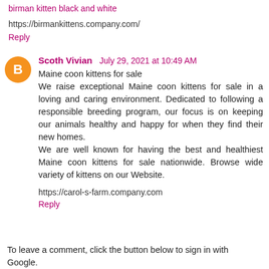birman kitten black and white
https://birmankittens.company.com/
Reply
Scoth Vivian  July 29, 2021 at 10:49 AM
Maine coon kittens for sale
We raise exceptional Maine coon kittens for sale in a loving and caring environment. Dedicated to following a responsible breeding program, our focus is on keeping our animals healthy and happy for when they find their new homes.
We are well known for having the best and healthiest Maine coon kittens for sale nationwide. Browse wide variety of kittens on our Website.
https://carol-s-farm.company.com
Reply
To leave a comment, click the button below to sign in with Google.